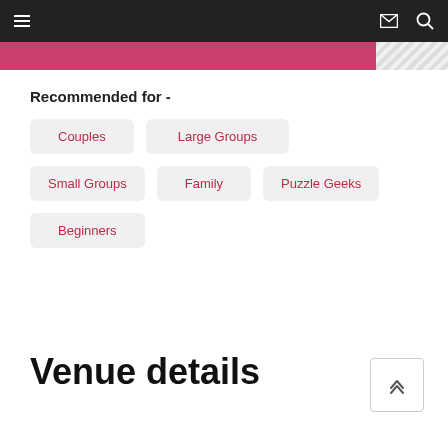Navigation bar with menu, email, and search icons
[Figure (other): Pink banner strip with hatched pattern on the right side]
Recommended for -
Couples
Large Groups
Small Groups
Family
Puzzle Geeks
Beginners
Venue details